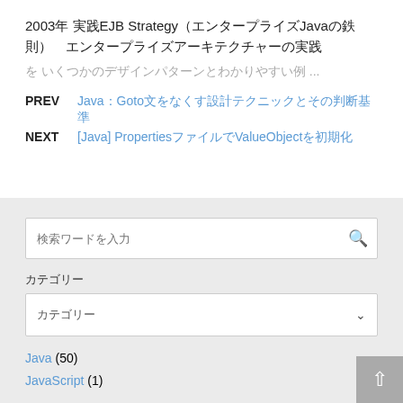2003年 実践EJB Strategy（エンタープライズJavaの鉄則）　エンタープライズアーキテクチャーの実践
を いくつかのデザインパターンとわかりやすい例 ...
PREV Java：Goto文をなくす設計テクニックとその判断基準
NEXT [Java] PropertiesファイルでValueObjectを初期化
検索ワードを入力
カテゴリー
カテゴリー
Java (50)
JavaScript (1)
NEW ENTRY